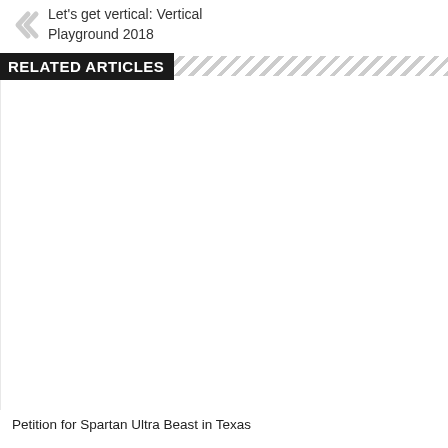Let's get vertical: Vertical Playground 2018
RELATED ARTICLES
[Figure (photo): Large blank/white image placeholder for a related article]
Petition for Spartan Ultra Beast in Texas